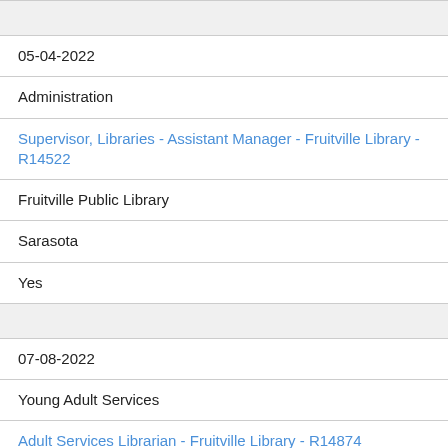|  |
| 05-04-2022 |
| Administration |
| Supervisor, Libraries - Assistant Manager - Fruitville Library - R14522 |
| Fruitville Public Library |
| Sarasota |
| Yes |
|  |
| 07-08-2022 |
| Young Adult Services |
| Adult Services Librarian - Fruitville Library - R14874 |
| Fruitville Public Library |
| Sarasota |